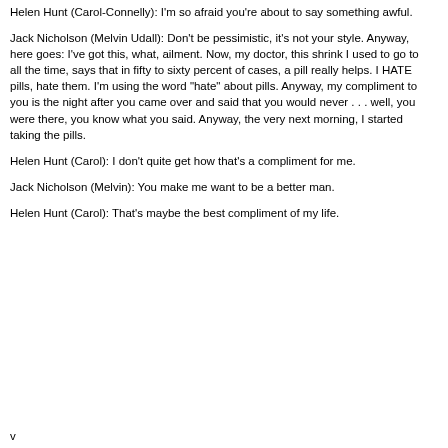Helen Hunt (Carol-Connelly): I'm so afraid you're about to say something awful.
Jack Nicholson (Melvin Udall): Don't be pessimistic, it's not your style. Anyway, here goes: I've got this, what, ailment. Now, my doctor, this shrink I used to go to all the time, says that in fifty to sixty percent of cases, a pill really helps. I HATE pills, hate them. I'm using the word "hate" about pills. Anyway, my compliment to you is the night after you came over and said that you would never . . . well, you were there, you know what you said. Anyway, the very next morning, I started taking the pills.
Helen Hunt (Carol): I don't quite get how that's a compliment for me.
Jack Nicholson (Melvin): You make me want to be a better man.
Helen Hunt (Carol): That's maybe the best compliment of my life.
v